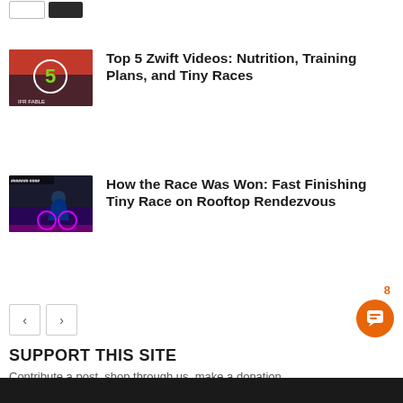[Figure (photo): Partial logos visible at top of page]
Top 5 Zwift Videos: Nutrition, Training Plans, and Tiny Races
How the Race Was Won: Fast Finishing Tiny Race on Rooftop Rendezvous
SUPPORT THIS SITE
Contribute a post, shop through us, make a donation, advertise on this site. See how you can support Zwift Insider!